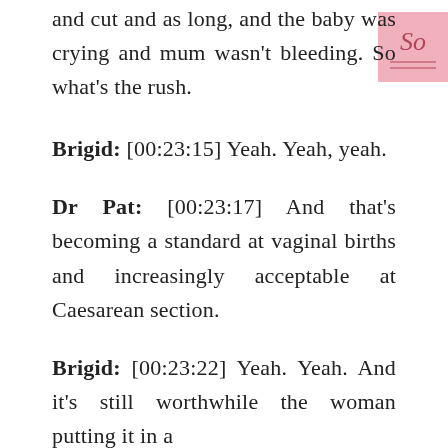and cut and as long, and the baby was crying and mum wasn't bleeding. So what's the rush.
[Figure (logo): Pink square logo with stylized 'So' text]
Brigid: [00:23:15] Yeah. Yeah, yeah.
Dr Pat: [00:23:17] And that's becoming a standard at vaginal births and increasingly acceptable at Caesarean section.
Brigid: [00:23:22] Yeah. Yeah. And it's still worthwhile the woman putting it in a